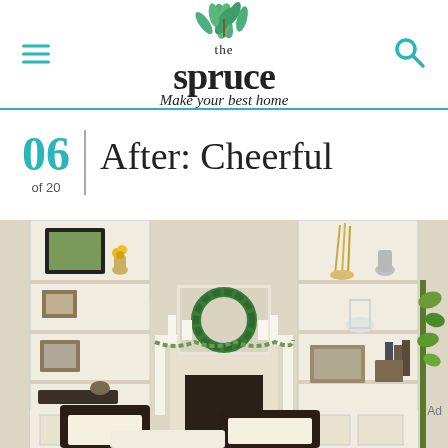the spruce — Make your best home
06 of 20 | After: Cheerful
[Figure (photo): Living room with built-in bookshelves flanking a white fireplace mantel decorated with a green wreath, candles, and seasonal decor. Dark leather chairs in the foreground.]